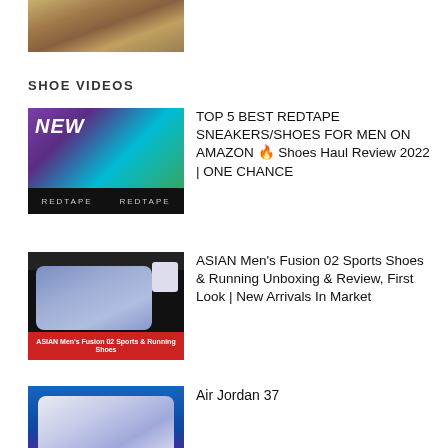[Figure (photo): Top partial thumbnail showing autumn leaves on the ground, partially cropped at the top of the page]
SHOE VIDEOS
[Figure (photo): Video thumbnail for TOP 5 BEST REDTAPE SNEAKERS/SHOES FOR MEN ON AMAZON showing a man with hat on colorful background with NEW text and RedTape logos]
TOP 5 BEST REDTAPE SNEAKERS/SHOES FOR MEN ON AMAZON 🔥 Shoes Haul Review 2022 | ONE CHANCE
[Figure (photo): Video thumbnail for ASIAN Men's Fusion 02 Sports Shoes showing a blue running shoe with small shoe icons and red banner at bottom]
ASIAN Men's Fusion 02 Sports Shoes & Running Unboxing & Review, First Look | New Arrivals In Market
[Figure (photo): Video thumbnail for Air Jordan 37 showing white basketball shoe on dark blue/purple background with JORDAN 37 text]
Air Jordan 37
[Figure (photo): Partial video thumbnail showing Xiaomi Running Shoes text on dark background]
Xiaomi Running Shoes unboxing and reviews @Xiaomi India | YRM Fitness